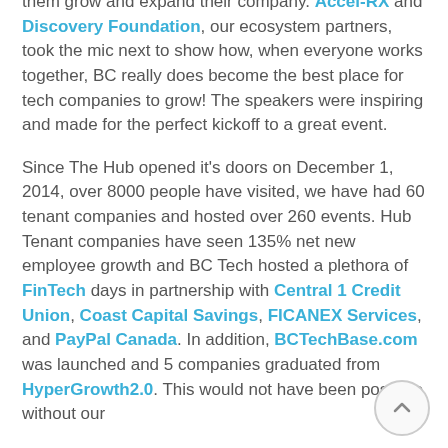them grow and expand their company. Accel-RX and Discovery Foundation, our ecosystem partners, took the mic next to show how, when everyone works together, BC really does become the best place for tech companies to grow! The speakers were inspiring and made for the perfect kickoff to a great event.
Since The Hub opened it's doors on December 1, 2014, over 8000 people have visited, we have had 60 tenant companies and hosted over 260 events. Hub Tenant companies have seen 135% net new employee growth and BC Tech hosted a plethora of FinTech days in partnership with Central 1 Credit Union, Coast Capital Savings, FICANEX Services, and PayPal Canada. In addition, BCTechBase.com was launched and 5 companies graduated from HyperGrowth2.0. This would not have been possible without our